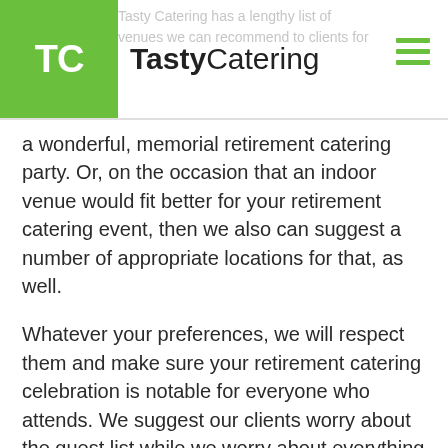TastyCatering
a wonderful, memorial retirement catering party. Or, on the occasion that an indoor venue would fit better for your retirement catering event, then we also can suggest a number of appropriate locations for that, as well.
Whatever your preferences, we will respect them and make sure your retirement catering celebration is notable for everyone who attends. We suggest our clients worry about the guest list while we worry about everything else! Better yet, we want our clients to understand that the fun never ends with regard to Tasty Catering!
Even at the conclusion of the outdoor season for